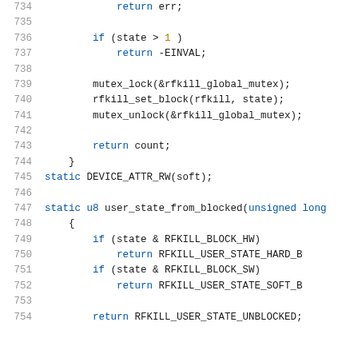Code listing lines 734–754 showing C source code for rfkill kernel module functions including mutex_lock, rfkill_set_block, mutex_unlock, DEVICE_ATTR_RW, and user_state_from_blocked.